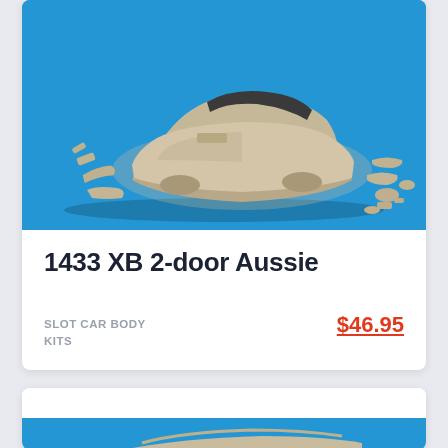[Figure (photo): Resin slot car body kit model parts for 1433 XB 2-door Aussie car, displayed on a bright blue background. Shows the car body shell and various separate pieces.]
1433 XB 2-door Aussie
SLOT CAR BODY KITS
$46.95
[Figure (photo): Partial view of another resin slot car body model on blue background, bottom of page — second product card partially visible.]